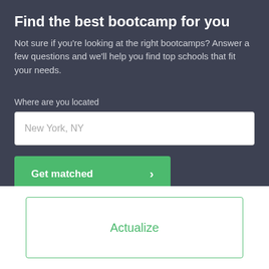Find the best bootcamp for you
Not sure if you're looking at the right bootcamps? Answer a few questions and we'll help you find top schools that fit your needs.
Where are you located
New York, NY
Get matched
Actualize